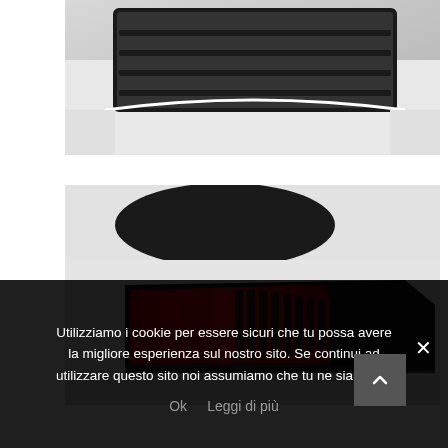[Figure (photo): Close-up of a car front grille, black and white, showing geometric mesh pattern on white bodywork]
[Figure (photo): Close-up of a car rear tail light in red and black on white bodywork, with a dark spoiler visible above]
Utilizziamo i cookie per essere sicuri che tu possa avere la migliore esperienza sul nostro sito. Se continui ad utilizzare questo sito noi assumiamo che tu ne sia felice.
Ok   Leggi di più